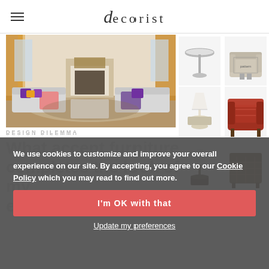decorist
[Figure (photo): Living room interior with grey sofas, purple cushions, patterned accent chairs, fireplace, and orange curtains]
[Figure (photo): Grid of furniture product images: side table, patterned armchair, lamp, red patterned wingback chair, lamp, wicker/brown chair]
We use cookies to customize and improve your overall experience on our site. By accepting, you agree to our Cookie Policy which you may read to find out more.
I'm OK with that
Update my preferences
DESIGN DILEMMA
What accent furniture completes the look of my ecle...